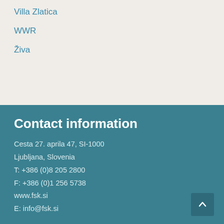Villa Zlatica
WWR
Živa
Contact information
Cesta 27. aprila 47, SI-1000
Ljubljana, Slovenia
T: +386 (0)8 205 2800
F: +386 (0)1 256 5738
www.fsk.si
E: info@fsk.si
Projects
100 SLAVIC NOVELS
ŽIVA